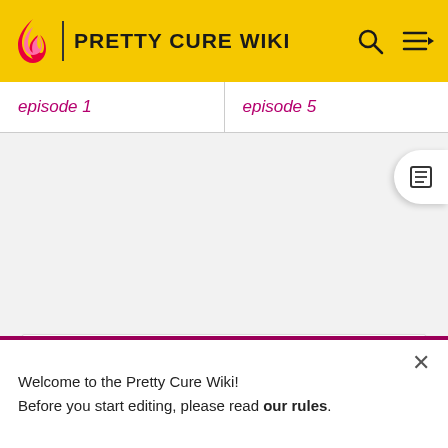PRETTY CURE WIKI
episode 1   episode 5
V · EEpisodes   [Expand]
[Figure (other): Advertisement placeholder — gray rectangle with ADVERTISEMENT label]
Welcome to the Pretty Cure Wiki! Before you start editing, please read our rules.